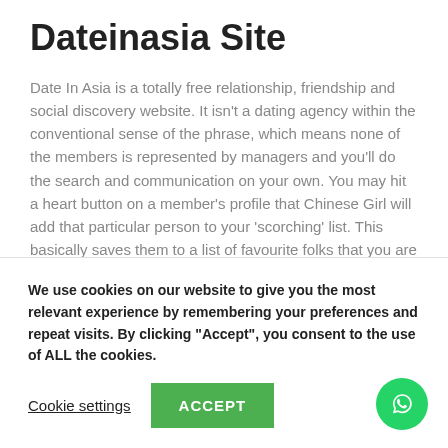Dateinasia Site
Date In Asia is a totally free relationship, friendship and social discovery website. It isn't a dating agency within the conventional sense of the phrase, which means none of the members is represented by managers and you'll do the search and communication on your own. You may hit a heart button on a member's profile that Chinese Girl will add that particular person to your 'scorching' list. This basically saves them to a list of favourite folks that you are enthusiastic about.
Good place to satisfy your Russian woman and create completely
We use cookies on our website to give you the most relevant experience by remembering your preferences and repeat visits. By clicking "Accept", you consent to the use of ALL the cookies.
Cookie settings
ACCEPT